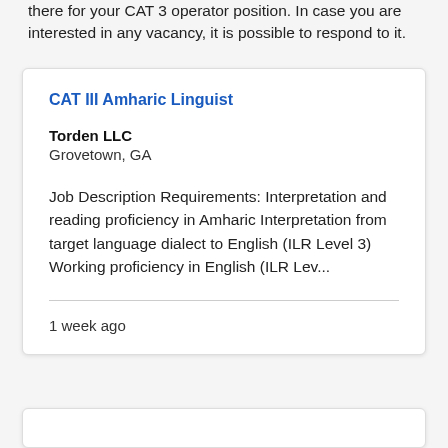there for your CAT 3 operator position. In case you are interested in any vacancy, it is possible to respond to it.
CAT III Amharic Linguist
Torden LLC
Grovetown, GA
Job Description Requirements: Interpretation and reading proficiency in Amharic Interpretation from target language dialect to English (ILR Level 3) Working proficiency in English (ILR Lev...
1 week ago